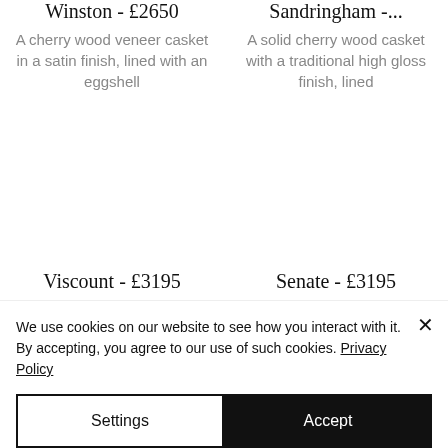Winston - £2650
A cherry wood veneer casket in a satin finish, lined with an eggshell
Sandringham -...
A solid cherry wood casket with a traditional high gloss finish, lined
Viscount - £3195
A solid mahogany
Senate - £3195
A solid mahogany
We use cookies on our website to see how you interact with it. By accepting, you agree to our use of such cookies. Privacy Policy
Settings
Accept